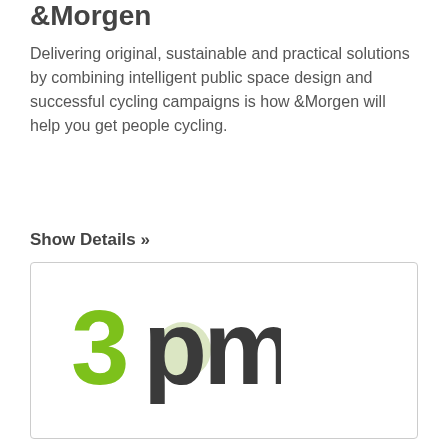&Morgen
Delivering original, sustainable and practical solutions by combining intelligent public space design and successful cycling campaigns is how &Morgen will help you get people cycling.
Show Details »
[Figure (logo): 3pm logo — stylized green '3' and 'pm' letters in green and dark gray]
By using this website, you agree to the use of cookies as described in our Privacy Policy.

OK